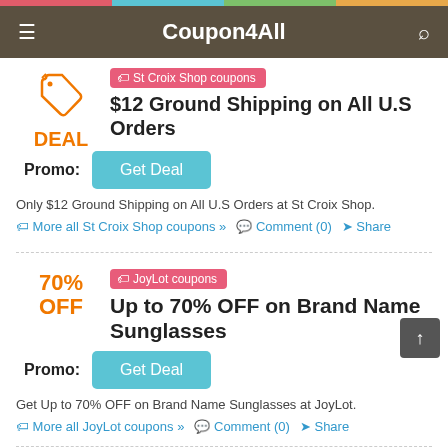Coupon4All
[Figure (infographic): Deal icon with orange tag SVG and DEAL label]
St Croix Shop coupons
$12 Ground Shipping on All U.S Orders
Promo: Get Deal
Only $12 Ground Shipping on All U.S Orders at St Croix Shop.
More all St Croix Shop coupons »   Comment (0)   Share
[Figure (infographic): 70% OFF label in orange]
JoyLot coupons
Up to 70% OFF on Brand Name Sunglasses
Promo: Get Deal
Get Up to 70% OFF on Brand Name Sunglasses at JoyLot.
More all JoyLot coupons »   Comment (0)   Share